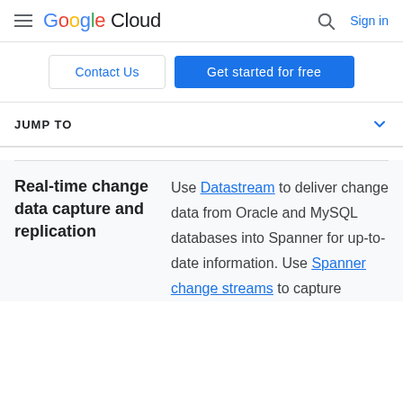Google Cloud — Sign in
Contact Us | Get started for free
JUMP TO
Real-time change data capture and replication
Use Datastream to deliver change data from Oracle and MySQL databases into Spanner for up-to-date information. Use Spanner change streams to capture